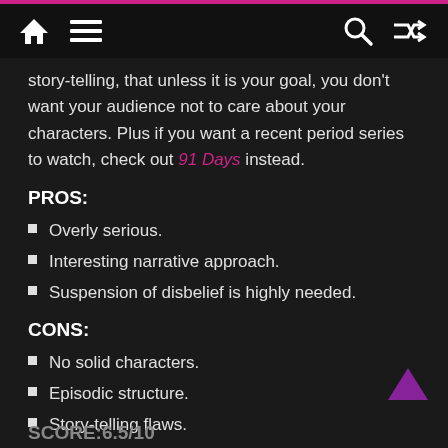Navigation bar with home, menu, search, and shuffle icons
story-telling, that unless it is your goal, you don't want your audience not to care about your characters. Plus if you want a recent period series to watch, check out 91 Days instead.
PROS:
Overly serious.
Interesting narrative approach.
Suspension of disbelief is highly needed.
CONS:
No solid characters.
Episodic structure.
Story-telling flaws.
SCORE:6.5/10